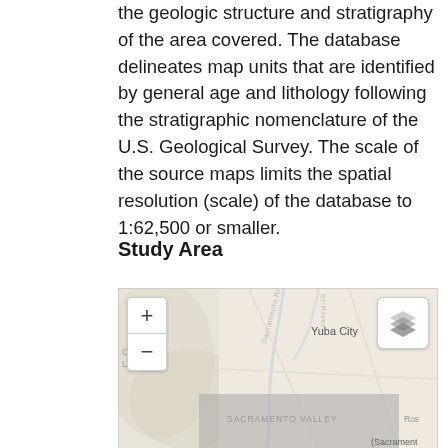the geologic structure and stratigraphy of the area covered. The database delineates map units that are identified by general age and lithology following the stratigraphic nomenclature of the U.S. Geological Survey. The scale of the source maps limits the spatial resolution (scale) of the database to 1:62,500 or smaller.
Study Area
[Figure (map): Interactive web map showing study area in California including Yuba City, Clear Lake, Sacramento Valley, and Roseville/Sacramento region. Map has zoom controls (+/-) on the left and a layers button on the upper right. Sacramento River is labeled. A gray overlay covers the lower-center portion of the map.]